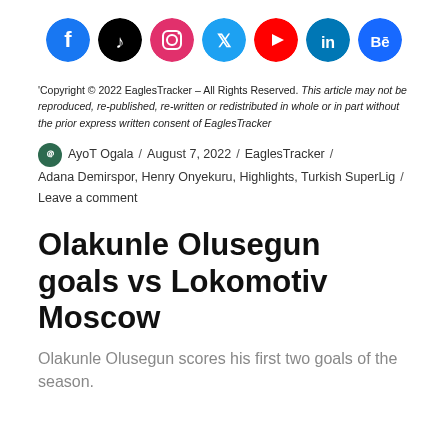[Figure (infographic): Row of seven social media icons: Facebook (blue), TikTok (black), Instagram (pink/magenta), Twitter (light blue), YouTube (red), LinkedIn (dark blue), Behance (dark blue)]
'Copyright © 2022 EaglesTracker – All Rights Reserved. This article may not be reproduced, re-published, re-written or redistributed in whole or in part without the prior express written consent of EaglesTracker
AyoT Ogala / August 7, 2022 / EaglesTracker / Adana Demirspor, Henry Onyekuru, Highlights, Turkish SuperLig / Leave a comment
Olakunle Olusegun goals vs Lokomotiv Moscow
Olakunle Olusegun scores his first two goals of the season.